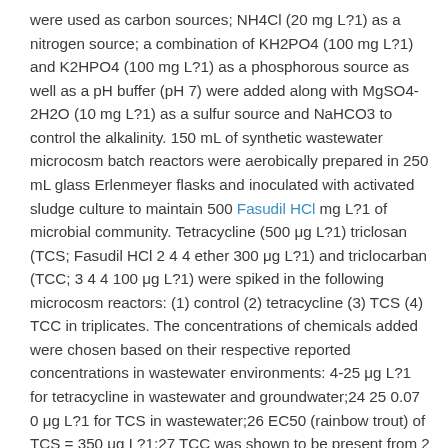were used as carbon sources; NH4Cl (20 mg L?1) as a nitrogen source; a combination of KH2PO4 (100 mg L?1) and K2HPO4 (100 mg L?1) as a phosphorous source as well as a pH buffer (pH 7) were added along with MgSO4-2H2O (10 mg L?1) as a sulfur source and NaHCO3 to control the alkalinity. 150 mL of synthetic wastewater microcosm batch reactors were aerobically prepared in 250 mL glass Erlenmeyer flasks and inoculated with activated sludge culture to maintain 500 Fasudil HCl mg L?1 of microbial community. Tetracycline (500 μg L?1) triclosan (TCS; Fasudil HCl 2 4 4 ether 300 μg L?1) and triclocarban (TCC; 3 4 4 100 μg L?1) were spiked in the following microcosm reactors: (1) control (2) tetracycline (3) TCS (4) TCC in triplicates. The concentrations of chemicals added were chosen based on their respective reported concentrations in wastewater environments: 4-25 μg L?1 for tetracycline in wastewater and groundwater;24 25 0.07 0 μg L?1 for TCS in wastewater;26 EC50 (rainbow trout) of TCS = 350 μg L?1;27 TCC was shown to be present from 2 μg L?1 to ppm levels 19 28.